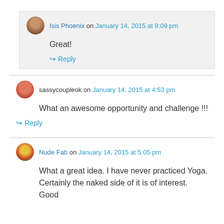Isis Phoenix on January 14, 2015 at 9:09 pm
Great!
Reply
sassycoupleok on January 14, 2015 at 4:53 pm
What an awesome opportunity and challenge !!!
Reply
Nude Fab on January 14, 2015 at 5:05 pm
What a great idea. I have never practiced Yoga. Certainly the naked side of it is of interest. Good